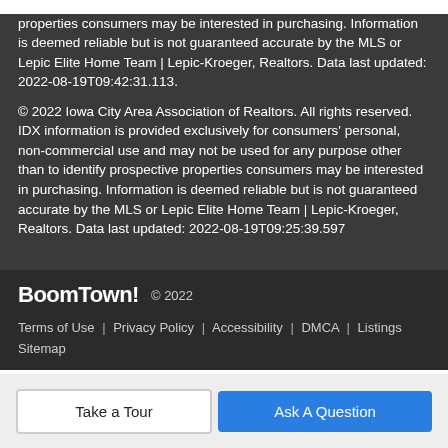properties consumers may be interested in purchasing. Information is deemed reliable but is not guaranteed accurate by the MLS or Lepic Elite Home Team | Lepic-Kroeger, Realtors. Data last updated: 2022-08-19T09:42:31.113.
© 2022 Iowa City Area Association of Realtors. All rights reserved. IDX information is provided exclusively for consumers' personal, non-commercial use and may not be used for any purpose other than to identify prospective properties consumers may be interested in purchasing. Information is deemed reliable but is not guaranteed accurate by the MLS or Lepic Elite Home Team | Lepic-Kroeger, Realtors. Data last updated: 2022-08-19T09:25:39.597
BoomTown! © 2022 | Terms of Use | Privacy Policy | Accessibility | DMCA | Listings Sitemap
Take a Tour
Ask A Question